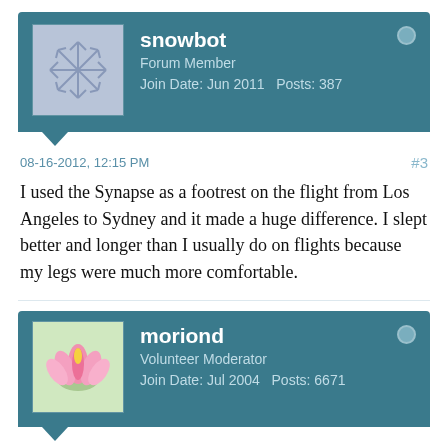snowbot
Forum Member
Join Date: Jun 2011   Posts: 387
08-16-2012, 12:15 PM  #3
I used the Synapse as a footrest on the flight from Los Angeles to Sydney and it made a huge difference. I slept better and longer than I usually do on flights because my legs were much more comfortable.
moriond
Volunteer Moderator
Join Date: Jul 2004   Posts: 6671
08-16-2012, 12:51 PM  #4
Originally posted by snowbot
I used the Synapse as a footrest on the flight from Los...